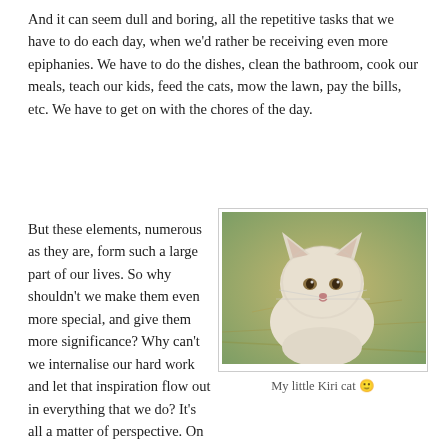And it can seem dull and boring, all the repetitive tasks that we have to do each day, when we'd rather be receiving even more epiphanies. We have to do the dishes, clean the bathroom, cook our meals, teach our kids, feed the cats, mow the lawn, pay the bills, etc. We have to get on with the chores of the day.
But these elements, numerous as they are, form such a large part of our lives. So why shouldn't we make them even more special, and give them more significance? Why can't we internalise our hard work and let that inspiration flow out in everything that we do? It's all a matter of perspective. On the summit, it's easy to see all
[Figure (photo): A white/cream colored cat with amber eyes sitting outdoors with dry grass in the background.]
My little Kiri cat 🙂